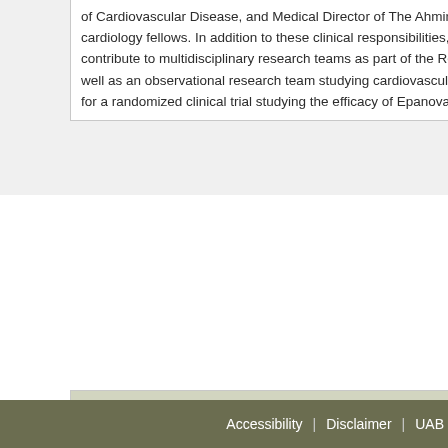of Cardiovascular Disease, and Medical Director of The Ahmin Clinic. Although cardiology fellows. In addition to these clinical responsibilities, he has obtained contribute to multidisciplinary research teams as part of the Reasons for Geo well as an observational research team studying cardiovascular disease, treat for a randomized clinical trial studying the efficacy of Epanova in high risk pati
| Research/Clinical Interest |
| --- |
| Title |
| Description |
| Dr. Brown's research has primarily focused on the epidemiology and preventio |
Accessibility  |  Disclaimer  |  UAB